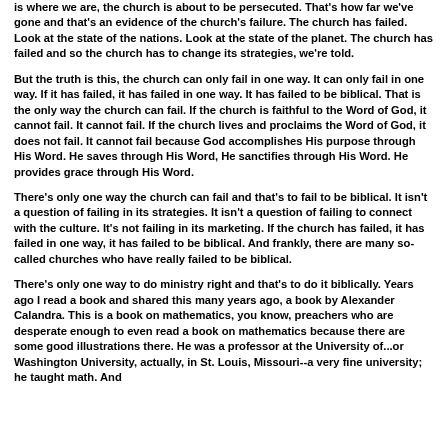is where we are, the church is about to be persecuted. That's how far we've gone and that's an evidence of the church's failure. The church has failed. Look at the state of the nations. Look at the state of the planet. The church has failed and so the church has to change its strategies, we're told.
But the truth is this, the church can only fail in one way. It can only fail in one way. If it has failed, it has failed in one way. It has failed to be biblical. That is the only way the church can fail. If the church is faithful to the Word of God, it cannot fail. It cannot fail. If the church lives and proclaims the Word of God, it does not fail. It cannot fail because God accomplishes His purpose through His Word. He saves through His Word, He sanctifies through His Word. He provides grace through His Word.
There's only one way the church can fail and that's to fail to be biblical. It isn't a question of failing in its strategies. It isn't a question of failing to connect with the culture. It's not failing in its marketing. If the church has failed, it has failed in one way, it has failed to be biblical. And frankly, there are many so-called churches who have really failed to be biblical.
There's only one way to do ministry right and that's to do it biblically. Years ago I read a book and shared this many years ago, a book by Alexander Calandra. This is a book on mathematics, you know, preachers who are desperate enough to even read a book on mathematics because there are some good illustrations there. He was a professor at the University of...or Washington University, actually, in St. Louis, Missouri--a very fine university; he taught math. And